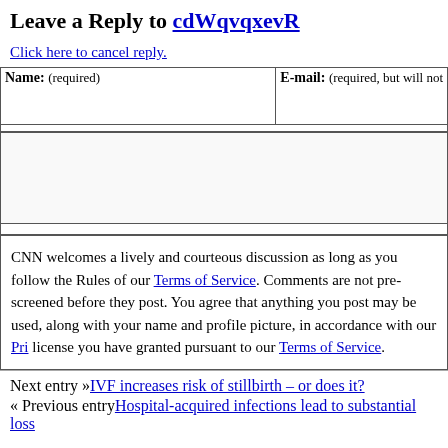Leave a Reply to cdWqvqxevR
Click here to cancel reply.
| Name: (required) | E-mail: (required, but will not be published) |
| --- | --- |
|  |  |
CNN welcomes a lively and courteous discussion as long as you follow the Rules of our Terms of Service. Comments are not pre-screened before they post. You agree that anything you post may be used, along with your name and profile picture, in accordance with our Privacy Policy and the license you have granted pursuant to our Terms of Service.
Next entry »IVF increases risk of stillbirth – or does it?
« Previous entryHospital-acquired infections lead to substantial loss